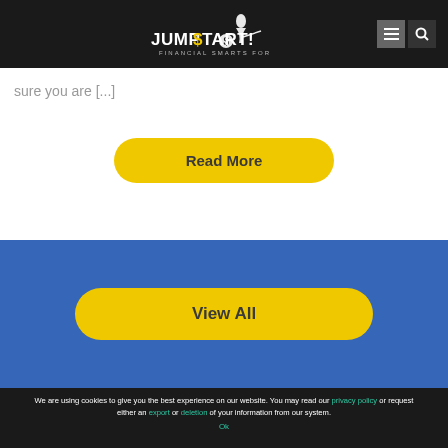JumpStart! Financial Smarts for Students
sure you are [...]
Read More
View All
We are using cookies to give you the best experience on our website. You may read our privacy policy or request either an export or deletion of your information from our system.
Ok